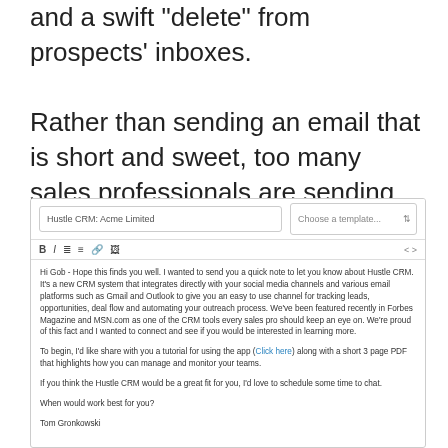and a swift “delete” from prospects’ inboxes.

Rather than sending an email that is short and sweet, too many sales professionals are sending emails that look like this:
[Figure (screenshot): Screenshot of a CRM email composer showing a field labeled 'Hustle CRM: Acme Limited', a 'Choose a template...' dropdown, a formatting toolbar with Bold, Italic, list, link and image buttons, and a composed email body from Tom Gronkowski to Gob about Hustle CRM.]